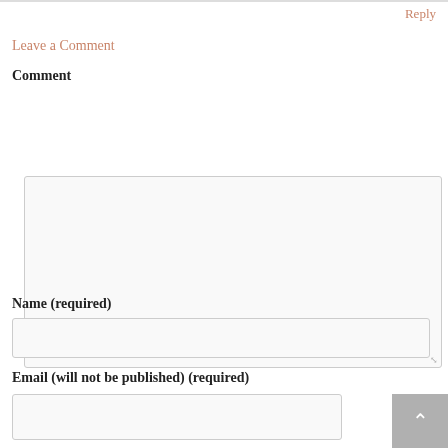Reply
Leave a Comment
Comment
Name (required)
Email (will not be published) (required)